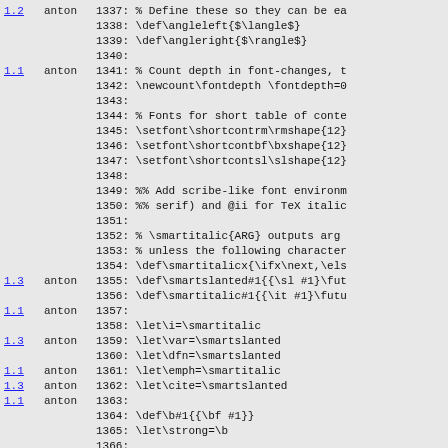| version | author | line:code |
| --- | --- | --- |
| 1.2 | anton | 1337: % Define these so they can be ea |
|  |  | 1338: \def\angleleft{$\langle$} |
|  |  | 1339: \def\angleright{$\rangle$} |
|  |  | 1340: |
| 1.1 | anton | 1341: % Count depth in font-changes, t |
|  |  | 1342: \newcount\fontdepth \fontdepth=0 |
|  |  | 1343: |
|  |  | 1344: % Fonts for short table of conte |
|  |  | 1345: \setfont\shortcontrm\rmshape{12} |
|  |  | 1346: \setfont\shortcontbf\bxshape{12} |
|  |  | 1347: \setfont\shortcontsl\slshape{12} |
|  |  | 1348: |
|  |  | 1349: %% Add scribe-like font environm |
|  |  | 1350: %% serif) and @ii for TeX italic |
|  |  | 1351: |
|  |  | 1352: % \smartitalic{ARG} outputs arg |
|  |  | 1353: % unless the following character |
|  |  | 1354: \def\smartitalicx{\ifx\next,\els |
| 1.3 | anton | 1355: \def\smartslanted#1{{\sl #1}\fut |
|  |  | 1356: \def\smartitalic#1{{\it #1}\futu |
| 1.1 | anton | 1357: |
|  |  | 1358: \let\i=\smartitalic |
| 1.3 | anton | 1359: \let\var=\smartslanted |
|  |  | 1360: \let\dfn=\smartslanted |
| 1.1 | anton | 1361: \let\emph=\smartitalic |
| 1.3 | anton | 1362: \let\cite=\smartslanted |
| 1.1 | anton | 1363: |
|  |  | 1364: \def\b#1{{\bf #1}} |
|  |  | 1365: \let\strong=\b |
|  |  | 1366: |